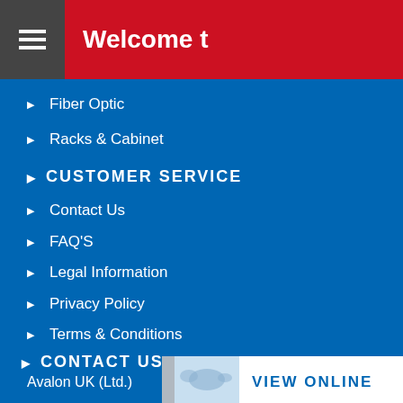Welcome t
Fiber Optic
Racks & Cabinet
CUSTOMER SERVICE
Contact Us
FAQ'S
Legal Information
Privacy Policy
Terms & Conditions
CONTACT US
Avalon UK (Ltd.)
sales@avalonnetworks.co.uk
[Figure (screenshot): VIEW ONLINE catalog banner with world map image]